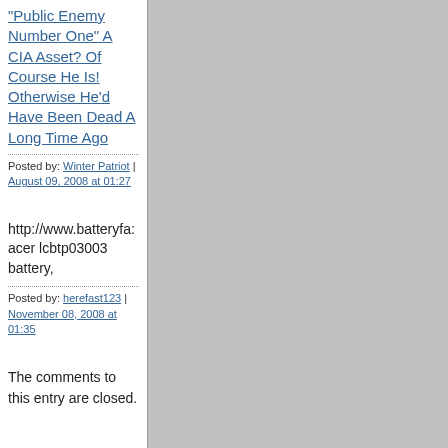"Public Enemy Number One" A CIA Asset? Of Course He Is! Otherwise He'd Have Been Dead A Long Time Ago
Posted by: Winter Patriot | August 09, 2008 at 01:27
http://www.batteryfa: acer lcbtp03003 battery,
Posted by: herefast123 | November 08, 2008 at 01:35
The comments to this entry are closed.